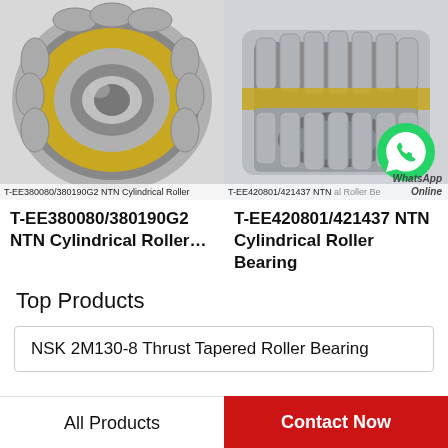[Figure (photo): T-EE380080/380190G2 NTN Cylindrical Roller Bearing product photo - spherical roller bearing with gold cage]
T-EE380080/380190G2 NTN Cylindrical Roller
T-EE380080/380190G2
NTN Cylindrical Roller…
[Figure (photo): T-EE420801/421437 NTN Cylindrical Roller Bearing product photo - cylindrical roller bearing with gold cage, WhatsApp Online badge overlay]
T-EE420801/421437 NTN Cylindrical Roller Be
T-EE420801/421437 NTN
Cylindrical Roller Bearing
Top Products
NSK 2M130-8 Thrust Tapered Roller Bearing
All Products
Contact Now